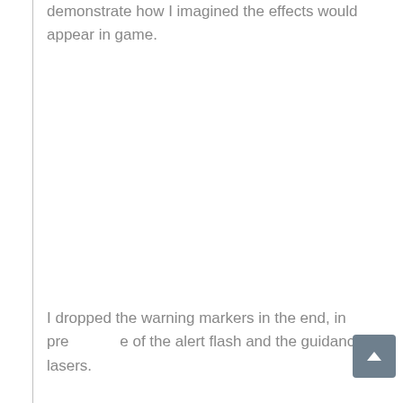I used HitFilm Express to create the below video to demonstrate how I imagined the effects would appear in game.
I dropped the warning markers in the end, in preference of the alert flash and the guidance lasers.